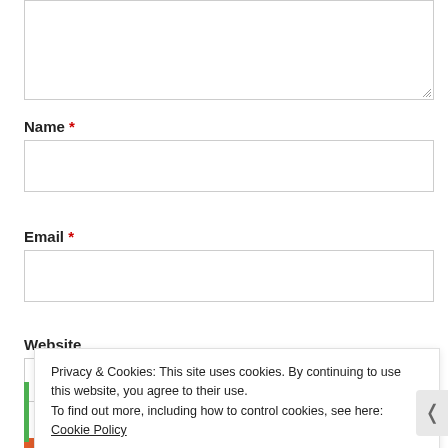[Figure (screenshot): Textarea input box (comment field) with resize handle at bottom right]
Name *
[Figure (screenshot): Name text input field, empty]
Email *
[Figure (screenshot): Email text input field, empty]
Website
[Figure (screenshot): Website text input field, empty]
Privacy & Cookies: This site uses cookies. By continuing to use this website, you agree to their use.
To find out more, including how to control cookies, see here: Cookie Policy
Close and accept